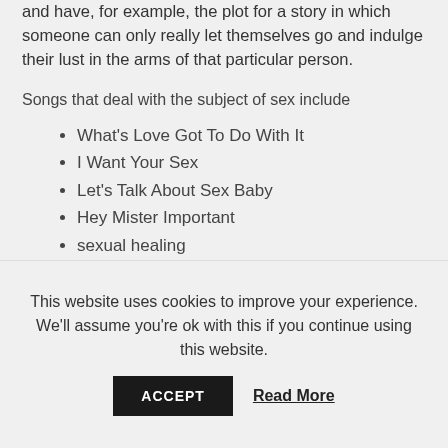and have, for example, the plot for a story in which someone can only really let themselves go and indulge their lust in the arms of that particular person.
Songs that deal with the subject of sex include
What's Love Got To Do With It
I Want Your Sex
Let's Talk About Sex Baby
Hey Mister Important
sexual healing
Love
This website uses cookies to improve your experience. We'll assume you're ok with this if you continue using this website.
ACCEPT   Read More